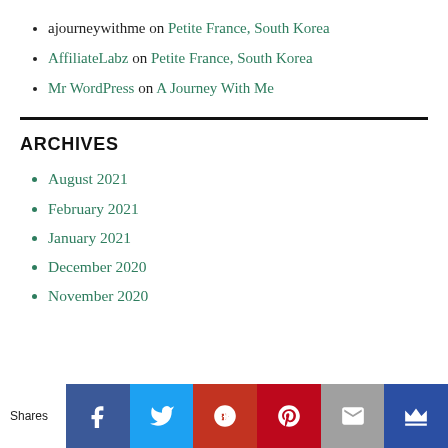ajourneywithme on Petite France, South Korea
AffiliateLabz on Petite France, South Korea
Mr WordPress on A Journey With Me
ARCHIVES
August 2021
February 2021
January 2021
December 2020
November 2020